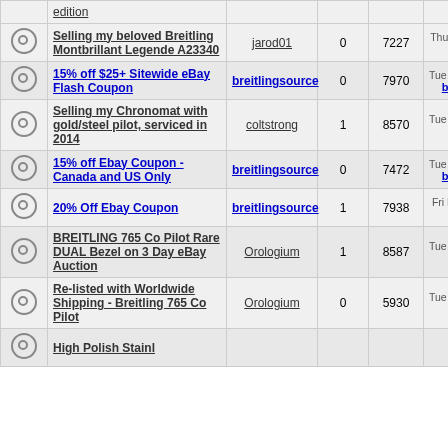|  | Topic | Author | Replies | Views | Last Post |
| --- | --- | --- | --- | --- | --- |
|  | edition |  |  |  |  |
|  | Selling my beloved Breitling Montbrillant Legende A23340 | jarod01 | 0 | 7227 | Thu May 03, 2018 jarod01 |
|  | 15% off $25+ Sitewide eBay Flash Coupon | breitlingsource | 0 | 7970 | Tue Mar 27, 2018 breitlingsource |
|  | Selling my Chronomat with gold/steel pilot, serviced in 2014 | coltstrong | 1 | 8570 | Tue Mar 20, 2018 Driver8 |
|  | 15% off Ebay Coupon - Canada and US Only | breitlingsource | 0 | 7472 | Tue Mar 20, 2018 breitlingsource |
|  | 20% Off Ebay Coupon | breitlingsource | 1 | 7938 | Fri Mar 09, 2018 arcadelt |
|  | BREITLING 765 Co Pilot Rare DUAL Bezel on 3 Day eBay Auction | Orologium | 1 | 8587 | Tue Nov 28, 2017 Orologium |
|  | Re-listed with Worldwide Shipping - Breitling 765 Co Pilot | Orologium | 0 | 5930 | Tue Nov 28, 2017 Orologium |